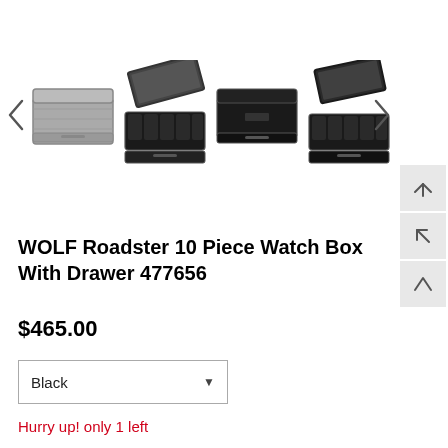[Figure (photo): Product image gallery showing WOLF Roadster 10 Piece Watch Box with Drawer in gray/silver and black variants, some open and some closed, with left and right navigation arrows]
WOLF Roadster 10 Piece Watch Box With Drawer 477656
$465.00
Black
Hurry up! only 1 left